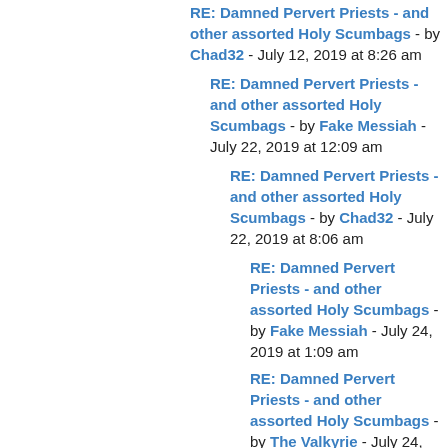RE: Damned Pervert Priests - and other assorted Holy Scumbags - by Chad32 - July 12, 2019 at 8:26 am
RE: Damned Pervert Priests - and other assorted Holy Scumbags - by Fake Messiah - July 22, 2019 at 12:09 am
RE: Damned Pervert Priests - and other assorted Holy Scumbags - by Chad32 - July 22, 2019 at 8:06 am
RE: Damned Pervert Priests - and other assorted Holy Scumbags - by Fake Messiah - July 24, 2019 at 1:09 am
RE: Damned Pervert Priests - and other assorted Holy Scumbags - by The Valkyrie - July 24, 2019 at 1:11 am
RE: Damned Pervert Priests - and other assorted Holy Scumbags - by Fake Messiah - July 29, 2019 at